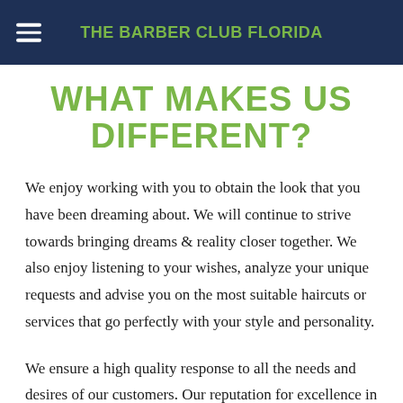THE BARBER CLUB FLORIDA
WHAT MAKES US DIFFERENT?
We enjoy working with you to obtain the look that you have been dreaming about. We will continue to strive towards bringing dreams & reality closer together. We also enjoy listening to your wishes, analyze your unique requests and advise you on the most suitable haircuts or services that go perfectly with your style and personality.
We ensure a high quality response to all the needs and desires of our customers. Our reputation for excellence in Barber industry is built on our customers' satisfaction. It is what sets us apart and where you will feel genuinely cared